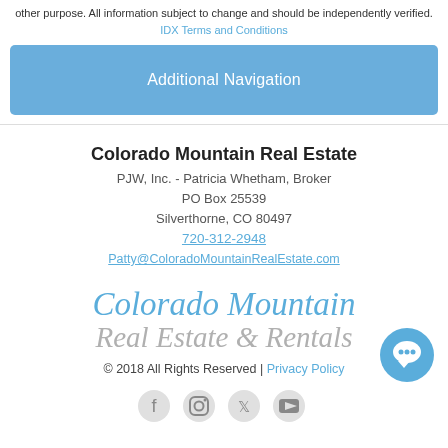other purpose. All information subject to change and should be independently verified. IDX Terms and Conditions
[Figure (other): Blue button labeled 'Additional Navigation']
Colorado Mountain Real Estate
PJW, Inc. - Patricia Whetham, Broker
PO Box 25539
Silverthorne, CO 80497
720-312-2948
Patty@ColoradoMountainRealEstate.com
[Figure (logo): Colorado Mountain Real Estate & Rentals logo in blue and gray italic serif text]
© 2018 All Rights Reserved | Privacy Policy
[Figure (other): Social media icons: Facebook, Instagram, Twitter, YouTube]